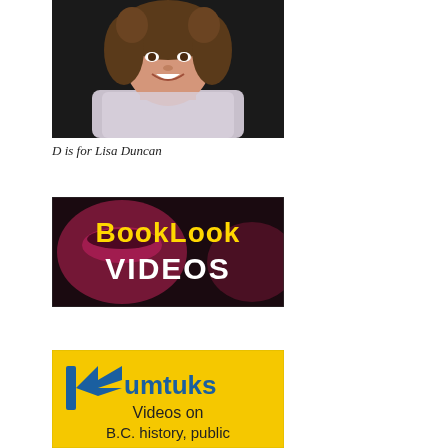[Figure (photo): Close-up portrait photo of a smiling woman with curly hair wearing a light scarf, on a dark background.]
D is for Lisa Duncan
[Figure (photo): BookLook Videos banner image with dark/purple background showing a close-up eye, with 'BookLook' in large yellow bold text and 'VIDEOS' in large white bold text below.]
[Figure (photo): Kumtuks Videos on B.C. history, public... banner with yellow background, showing the Kumtuks logo (K with blue arrow) and text 'Videos on B.C. history, public' in dark text.]